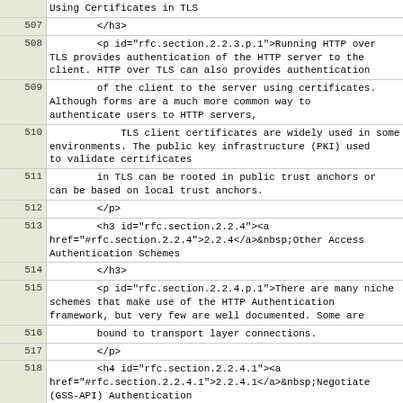Using Certificates in TLS
507    </h3>
508    <p id="rfc.section.2.2.3.p.1">Running HTTP over TLS provides authentication of the HTTP server to the client. HTTP over TLS can also provides authentication
509    of the client to the server using certificates. Although forms are a much more common way to authenticate users to HTTP servers,
510    TLS client certificates are widely used in some environments. The public key infrastructure (PKI) used to validate certificates
511    in TLS can be rooted in public trust anchors or can be based on local trust anchors.
512    </p>
513    <h3 id="rfc.section.2.2.4"><a href="#rfc.section.2.2.4">2.2.4</a>&nbsp;Other Access Authentication Schemes
514    </h3>
515    <p id="rfc.section.2.2.4.p.1">There are many niche schemes that make use of the HTTP Authentication framework, but very few are well documented. Some are
516    bound to transport layer connections.
517    </p>
518    <h4 id="rfc.section.2.2.4.1"><a href="#rfc.section.2.2.4.1">2.2.4.1</a>&nbsp;Negotiate (GSS-API) Authentication
519    </h4>
520    <p id="rfc.section.2.2.4.1.p.1">Microsoft has designed an HTTP authentication mechanism that utilizes SPNEGO <a href="#RFC4178"><cite title="The Simple and Protected Generic Security Service Application Program Interface (GSS-API) Negotiation Mechanism">[RFC4178]</cite></a> GSSAPI <a href="#RFC4559"><cite title="SPNEGO-based Kerberos and NTLM HTTP Authentication in Microsoft Windows">[RFC4559]</cite></a>